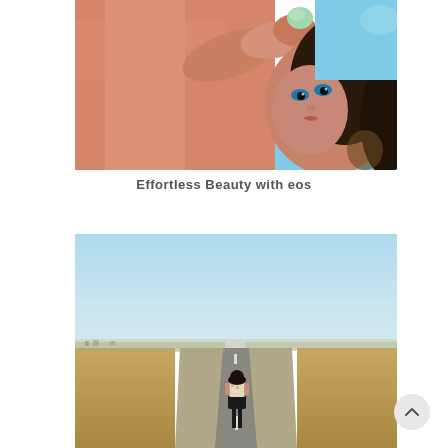[Figure (photo): Close-up overhead photo of a woman in a pink satin dress holding a small teal/mint colored eos beauty product near her lips, with curly dark hair and blue eyes, sky-blue background visible]
Effortless Beauty with eos
[Figure (photo): Wide landscape photo of a woman in a dark skirt and light top standing alone on a straight road in an arid desert landscape under a clear blue sky]